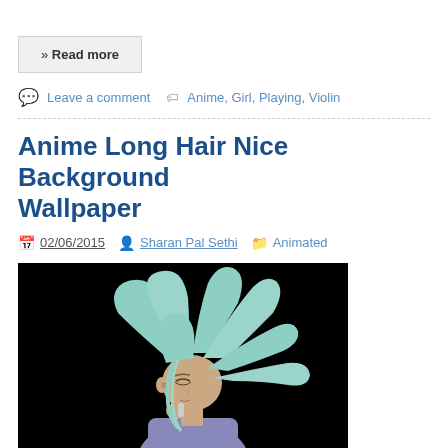» Read more
Leave a comment   Anime, Girl, Playing, Violin
Anime Long Hair Nice Background Wallpaper
02/06/2015   Sharan Pal Sethi   Animated
[Figure (illustration): Anime girl with long teal/mint hair flowing in the wind, wearing a purple outfit, on a black background]